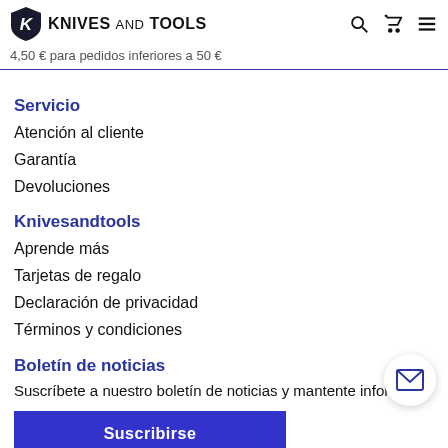KNIVES AND TOOLS
4,50 € para pedidos inferiores a 50 €
Servicio
Atención al cliente
Garantía
Devoluciones
Knivesandtools
Aprende más
Tarjetas de regalo
Declaración de privacidad
Términos y condiciones
Boletín de noticias
Suscríbete a nuestro boletín de noticias y mantente informado.
Suscribirse
síguenos